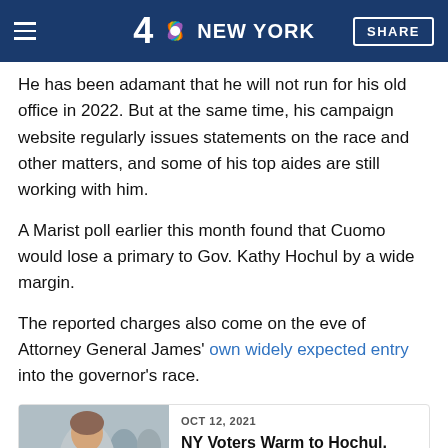4 NBC NEW YORK | SHARE
He has been adamant that he will not run for his old office in 2022. But at the same time, his campaign website regularly issues statements on the race and other matters, and some of his top aides are still working with him.
A Marist poll earlier this month found that Cuomo would lose a primary to Gov. Kathy Hochul by a wide margin.
The reported charges also come on the eve of Attorney General James' own widely expected entry into the governor's race.
[Figure (photo): Photo of Gov. Kathy Hochul with people in background]
OCT 12, 2021
NY Voters Warm to Hochul, Don't Want Cuomo to Return: Poll